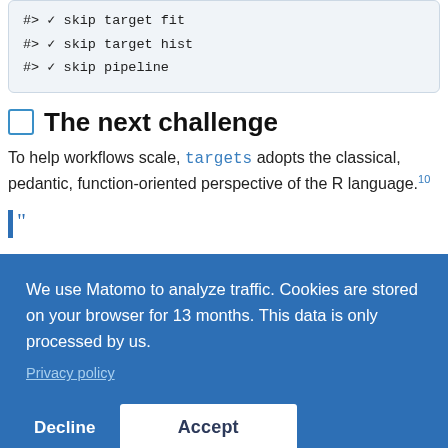#> ✓ skip target fit
#> ✓ skip target hist
#> ✓ skip pipeline
The next challenge
To help workflows scale, targets adopts the classical, pedantic, function-oriented perspective of the R language.^10
We use Matomo to analyze traffic. Cookies are stored on your browser for 13 months. This data is only processed by us.
Privacy policy
Decline
Accept
@mdheuzerling · Follow